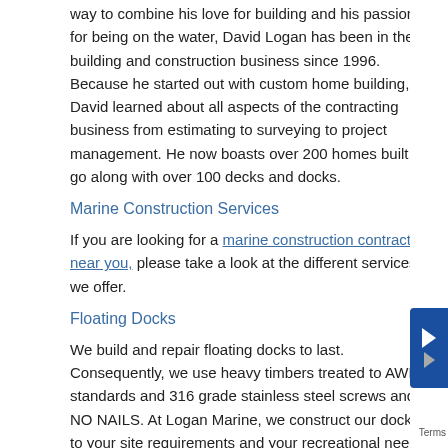way to combine his love for building and his passion for being on the water, David Logan has been in the building and construction business since 1996. Because he started out with custom home building, David learned about all aspects of the contracting business from estimating to surveying to project management. He now boasts over 200 homes built to go along with over 100 decks and docks.
Marine Construction Services
If you are looking for a marine construction contractor near you, please take a look at the different services we offer.
Floating Docks
We build and repair floating docks to last. Consequently, we use heavy timbers treated to AWPA standards and 316 grade stainless steel screws and NO NAILS. At Logan Marine, we construct our docks to your site requirements and your recreational needs. In addition, we take into